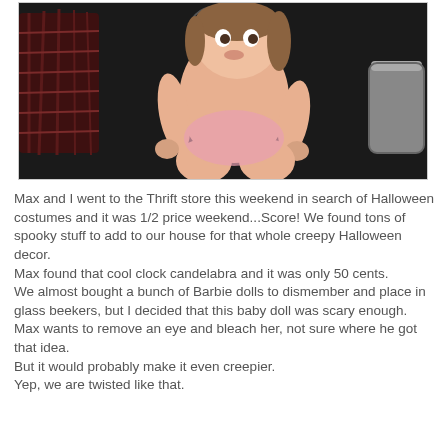[Figure (photo): A baby doll sitting on a dark surface at a thrift store. The doll wears a pink bodysuit and has brown hair. In the background are a small decorative clock, a wicker basket, and a metallic container.]
Max and I went to the Thrift store this weekend in search of Halloween costumes and it was 1/2 price weekend...Score! We found tons of spooky stuff to add to our house for that whole creepy Halloween decor.
Max found that cool clock candelabra and it was only 50 cents.
We almost bought a bunch of Barbie dolls to dismember and place in glass beekers, but I decided that this baby doll was scary enough.
Max wants to remove an eye and bleach her, not sure where he got that idea.
But it would probably make it even creepier.
Yep, we are twisted like that.